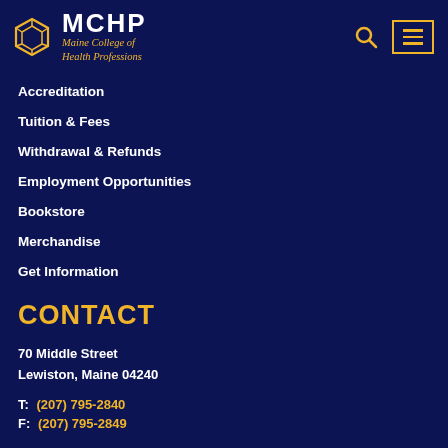MCHP Maine College of Health Professions
Accreditation
Tuition & Fees
Withdrawal & Refunds
Employment Opportunities
Bookstore
Merchandise
Get Information
CONTACT
70 Middle Street
Lewiston, Maine 04240
T:  (207) 795-2840
F:  (207) 795-2849